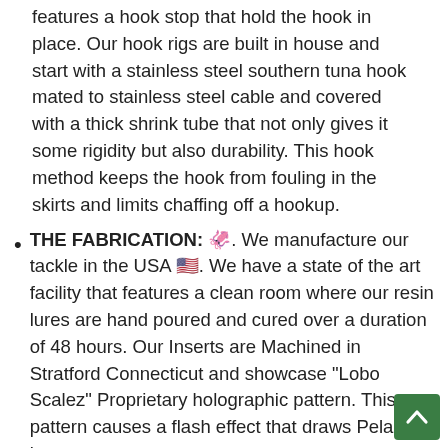features a hook stop that hold the hook in place. Our hook rigs are built in house and start with a stainless steel southern tuna hook mated to stainless steel cable and covered with a thick shrink tube that not only gives it some rigidity but also durability. This hook method keeps the hook from fouling in the skirts and limits chaffing off a hookup.
THE FABRICATION: 🦑. We manufacture our tackle in the USA 🇺🇸. We have a state of the art facility that features a clean room where our resin lures are hand poured and cured over a duration of 48 hours. Our Inserts are Machined in Stratford Connecticut and showcase "Lobo Scalez" Proprietary holographic pattern. This pattern causes a flash effect that draws Pelagics in.
THE INSERT: 🦑 Our inserts are machined to maintain their their integrity and they feature the signature "LOBO SCALEZ" proprietary...